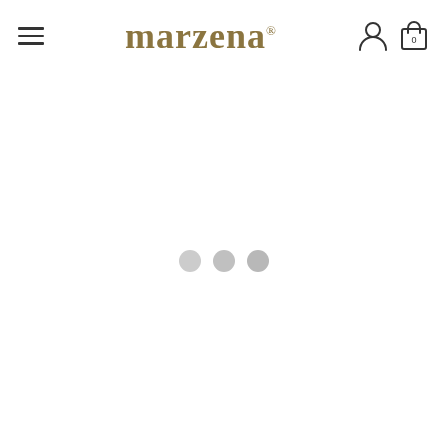marzena® — navigation header with hamburger menu, logo, user icon, and cart (0)
[Figure (other): Three grey loading dots centered on a white page, indicating a loading state]